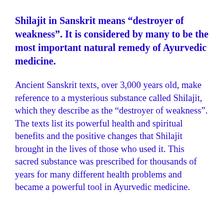Shilajit in Sanskrit means “destroyer of weakness”.  It is considered by many to be the most important natural remedy of Ayurvedic medicine.
Ancient Sanskrit texts, over 3,000 years old, make reference to a mysterious substance called Shilajit, which they describe as the “destroyer of weakness”.  The texts list its powerful health and spiritual benefits and the positive changes that Shilajit brought in the lives of those who used it.  This sacred substance was prescribed for thousands of years for many different health problems and became a powerful tool in Ayurvedic medicine.